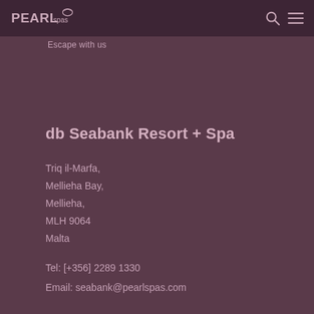PEARL spas — Escape with us
db Seabank Resort + Spa
Triq il-Marfa,
Mellieha Bay,
Mellieha,
MLH 9064
Malta
Tel: [+356] 2289 1330
Email: seabank@pearlspas.com